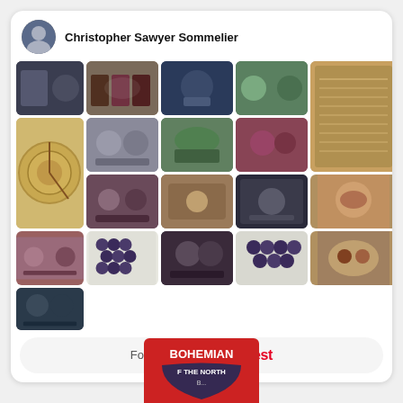[Figure (screenshot): Pinterest profile widget for Christopher Sawyer Sommelier showing a grid of wine and sommelier-related photo thumbnails with a profile avatar and Follow On Pinterest button at the bottom]
[Figure (photo): Partial view of Bohemian of the North B... poster/logo with red background at the bottom of the page]